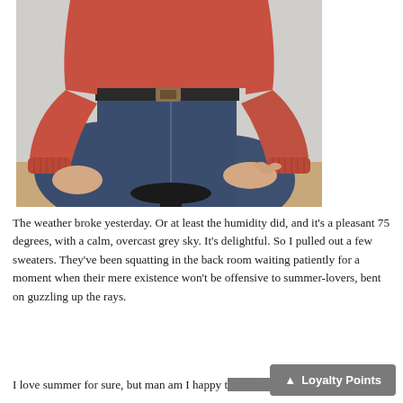[Figure (photo): A person seated on a black wooden stool, wearing a red/coral knit sweater with ribbed cuffs and dark navy high-waisted jeans with a brown leather belt. The photo is cropped to show from torso down, with a light grey background and wooden floor visible.]
The weather broke yesterday. Or at least the humidity did, and it's a pleasant 75 degrees, with a calm, overcast grey sky. It's delightful. So I pulled out a few sweaters. They've been squatting in the back room waiting patiently for a moment when their mere existence won't be offensive to summer-lovers, bent on guzzling up the rays.
I love summer for sure, but man am I happy t...y